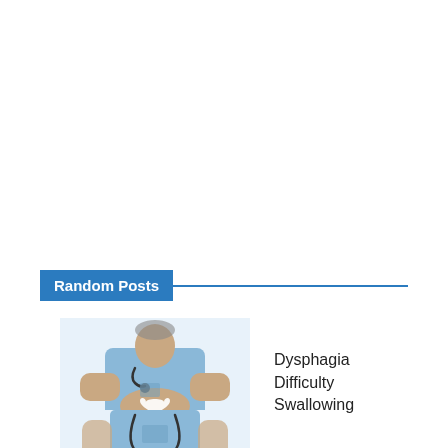Random Posts
[Figure (photo): Medical professional in blue scrubs holding a heart shape with hands, stethoscope visible]
Dysphagia Difficulty Swallowing
[Figure (photo): Medical professional in blue scrubs, partial view, lower portion]